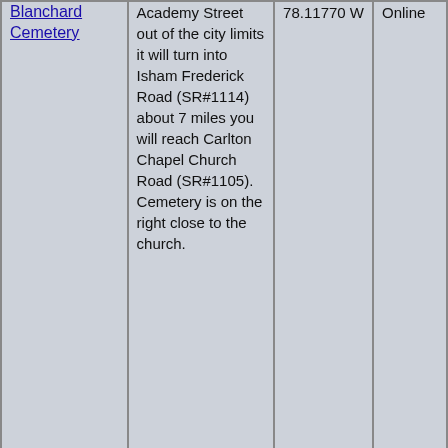| Cemetery Name | Directions | Coordinates | Status |
| --- | --- | --- | --- |
| Blanchard Cemetery | Academy Street out of the city limits it will turn into Isham Frederick Road (SR#1114) about 7 miles you will reach Carlton Chapel Church Road (SR#1105). Cemetery is on the right close to the church. | 78.11770 W | Online |
| Lewis Blanchard Cemetery | on New Hope Baptist Church road. Almost in front of the Church. | 34.94104 N
78.16093 W | Photos Online |
| Zachariah Blanchard Cemetery | on Norwood Blanchard Rd., Chinquapin, NC | 34.79133 N
77.82258 W | Photos Online |
| Bland Cemetery # 1 | Take Highway # 50 South From | 34.87315 N
77.9366 W | Photos Online |